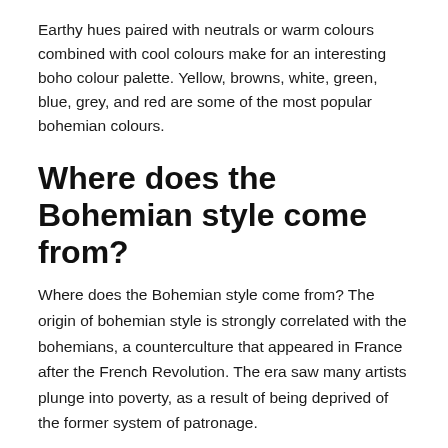Earthy hues paired with neutrals or warm colours combined with cool colours make for an interesting boho colour palette. Yellow, browns, white, green, blue, grey, and red are some of the most popular bohemian colours.
Where does the Bohemian style come from?
Where does the Bohemian style come from? The origin of bohemian style is strongly correlated with the bohemians, a counterculture that appeared in France after the French Revolution. The era saw many artists plunge into poverty, as a result of being deprived of the former system of patronage.
What means Bohemian style?